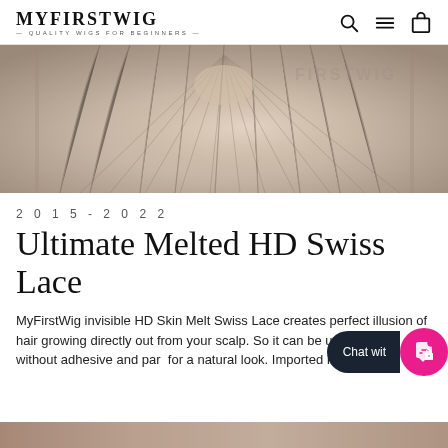MYFIRSTWIG — QUALITY WIGS FOR BEGINNERS —
[Figure (photo): Close-up photo of HD Swiss Lace wig hairline/part area showing lace texture and watermark text 'FIRSTWIG']
2015-2022
Ultimate Melted HD Swiss Lace
MyFirstWig invisible HD Skin Melt Swiss Lace creates perfect illusion of hair growing directly out from your scalp. So it can be used with or without adhesive and par… for a natural look. Imported From Switze…
[Figure (photo): Bottom strip showing partial product/model photo]